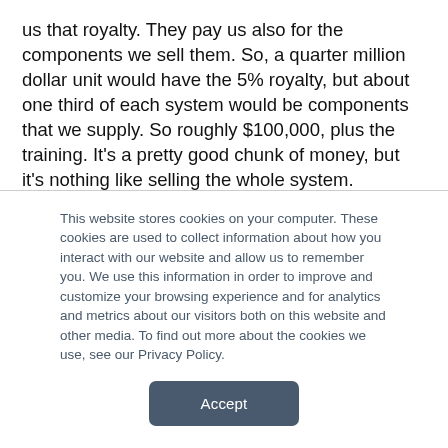us that royalty. They pay us also for the components we sell them. So, a quarter million dollar unit would have the 5% royalty, but about one third of each system would be components that we supply. So roughly $100,000, plus the training. It's a pretty good chunk of money, but it's nothing like selling the whole system.
So Depuporc is going to continue to pay us whenever they sell one of their units in Europe, they'll pay us for the components, they'll pay us the royalty. That's all good. But in addition, we're
This website stores cookies on your computer. These cookies are used to collect information about how you interact with our website and allow us to remember you. We use this information in order to improve and customize your browsing experience and for analytics and metrics about our visitors both on this website and other media. To find out more about the cookies we use, see our Privacy Policy.
Accept